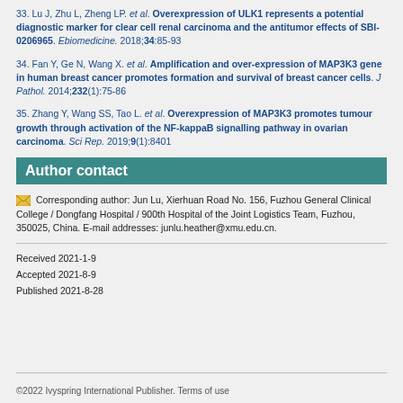33. Lu J, Zhu L, Zheng LP. et al. Overexpression of ULK1 represents a potential diagnostic marker for clear cell renal carcinoma and the antitumor effects of SBI-0206965. Ebiomedicine. 2018;34:85-93
34. Fan Y, Ge N, Wang X. et al. Amplification and over-expression of MAP3K3 gene in human breast cancer promotes formation and survival of breast cancer cells. J Pathol. 2014;232(1):75-86
35. Zhang Y, Wang SS, Tao L. et al. Overexpression of MAP3K3 promotes tumour growth through activation of the NF-kappaB signalling pathway in ovarian carcinoma. Sci Rep. 2019;9(1):8401
Author contact
Corresponding author: Jun Lu, Xierhuan Road No. 156, Fuzhou General Clinical College / Dongfang Hospital / 900th Hospital of the Joint Logistics Team, Fuzhou, 350025, China. E-mail addresses: junlu.heather@xmu.edu.cn.
Received 2021-1-9
Accepted 2021-8-9
Published 2021-8-28
©2022 Ivyspring International Publisher. Terms of use